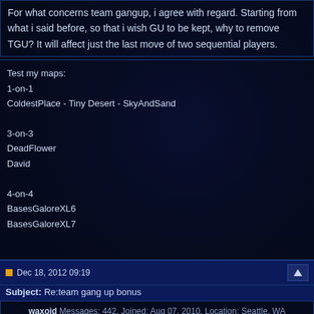For what concerns team gangup, i agree with regard. Starting from what i said before, so that i wish GU to be kept, why to remove TGU? It will affect just the last move of two sequential players.
Test my maps:
1-on-1
ColdestPlace - Tiny Desert - SkyAndSand

3-on-3
DeadFlower
David

4-on-4
BasesGaloreXL6
BasesGaloreXL7
Dec 18, 2012 09:19
Subject: Re:team gang up bonus
waxoid Messages: 442, Joined: Aug 07, 2010, Location: Seattle, WA
Sims is talking about the 'secret' ranged gang-up +2 and +3 factors, not gang-up in general as officially documented.
Dec 18, 2012 13:49
Subject: Re:team gang up bonus
simsverd Messages: 921, Joined: Dec 02, 2010, Location: Bergen, Norway